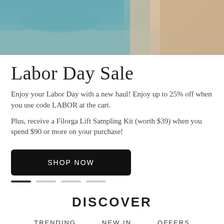[Figure (photo): Hero image showing a beach/ocean scene with teal water and sandy tones, with a person holding a crochet/knit item on the right side]
Labor Day Sale
Enjoy your Labor Day with a new haul! Enjoy up to 25% off when you use code LABOR at the cart.
Plus, receive a Filorga Lift Sampling Kit (worth $39) when you spend $90 or more on your purchase!
SHOP NOW
DISCOVER
TRENDING    NEW IN    OFFERS